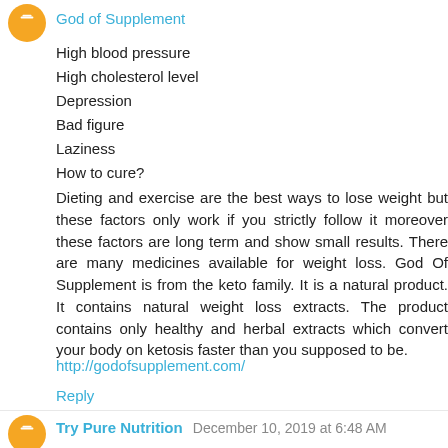God of Supplement
High blood pressure
High cholesterol level
Depression
Bad figure
Laziness
How to cure?
Dieting and exercise are the best ways to lose weight but these factors only work if you strictly follow it moreover these factors are long term and show small results. There are many medicines available for weight loss. God Of Supplement is from the keto family. It is a natural product. It contains natural weight loss extracts. The product contains only healthy and herbal extracts which convert your body on ketosis faster than you supposed to be.
http://godofsupplement.com/
Reply
Try Pure Nutrition December 10, 2019 at 6:48 AM
Try Pure Nutrition Last but not the least, it also features to